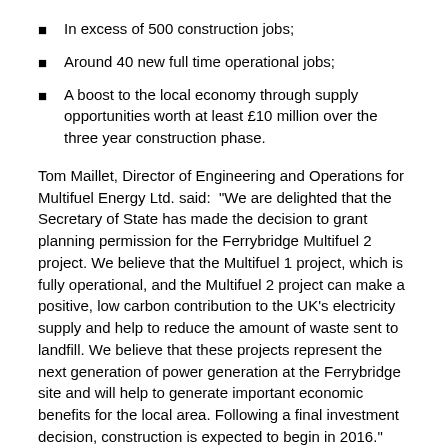In excess of 500 construction jobs;
Around 40 new full time operational jobs;
A boost to the local economy through supply opportunities worth at least £10 million over the three year construction phase.
Tom Maillet, Director of Engineering and Operations for Multifuel Energy Ltd. said:  "We are delighted that the Secretary of State has made the decision to grant planning permission for the Ferrybridge Multifuel 2 project. We believe that the Multifuel 1 project, which is fully operational, and the Multifuel 2 project can make a positive, low carbon contribution to the UK's electricity supply and help to reduce the amount of waste sent to landfill. We believe that these projects represent the next generation of power generation at the Ferrybridge site and will help to generate important economic benefits for the local area. Following a final investment decision, construction is expected to begin in 2016."
Engagement with local stakeholders, community groups and businesses will continue as the plans for construction progress.